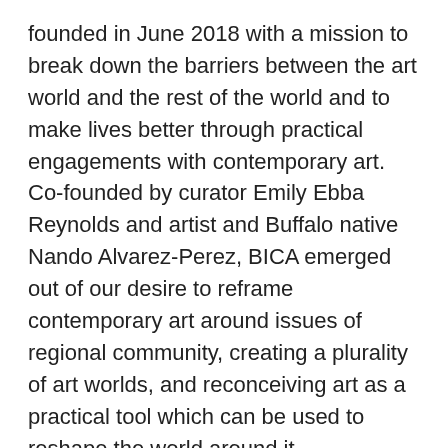founded in June 2018 with a mission to break down the barriers between the art world and the rest of the world and to make lives better through practical engagements with contemporary art. Co-founded by curator Emily Ebba Reynolds and artist and Buffalo native Nando Alvarez-Perez, BICA emerged out of our desire to reframe contemporary art around issues of regional community, creating a plurality of art worlds, and reconceiving art as a practical tool which can be used to reshape the world around it.
If you are looking to take a break from your holiday shopping, be sure to stop by the Essex Arts Center. There are some beautiful exhibitions from the artists in residence that are worth checking out and, if you have an art lover in your life from their selection of prints, books and more!